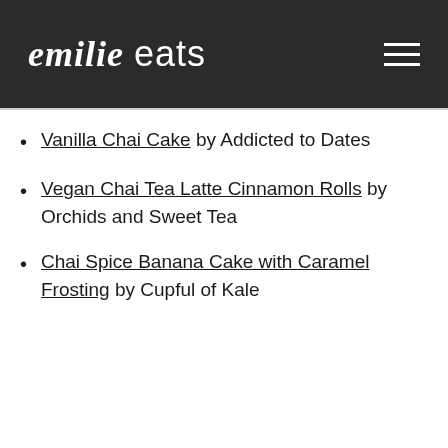emilie eats
Vanilla Chai Cake by Addicted to Dates
Vegan Chai Tea Latte Cinnamon Rolls by Orchids and Sweet Tea
Chai Spice Banana Cake with Caramel Frosting by Cupful of Kale